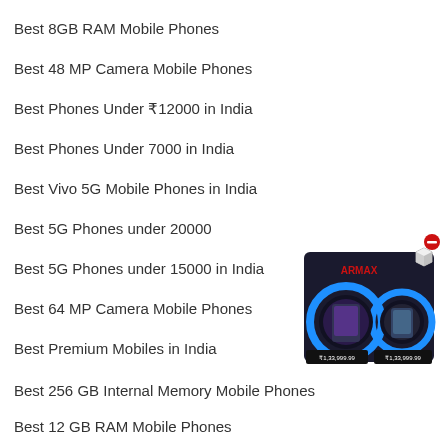Best 8GB RAM Mobile Phones
Best 48 MP Camera Mobile Phones
Best Phones Under ₹12000 in India
Best Phones Under 7000 in India
Best Vivo 5G Mobile Phones in India
Best 5G Phones under 20000
Best 5G Phones under 15000 in India
Best 64 MP Camera Mobile Phones
Best Premium Mobiles in India
[Figure (illustration): Dark product box with blue circular design, mobile phones displayed on box face, price tag showing ₹1,33,999.99, with a 3D cube icon and red minus/close button]
Best 256 GB Internal Memory Mobile Phones
Best 12 GB RAM Mobile Phones